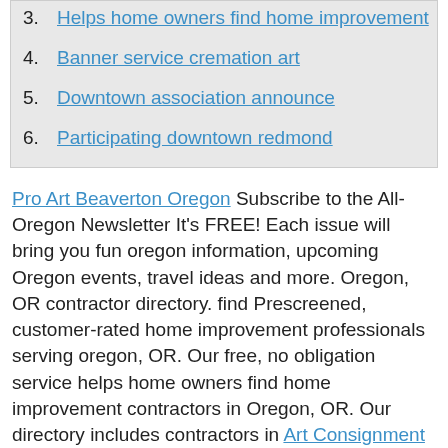3. Helps home owners find home improvement
4. Banner service cremation art
5. Downtown association announce
6. Participating downtown redmond
Pro Art Beaverton Oregon Subscribe to the All-Oregon Newsletter It's FREE! Each issue will bring you fun oregon information, upcoming Oregon events, travel ideas and more. Oregon, OR contractor directory. find Prescreened, customer-rated home improvement professionals serving oregon, OR. Our free, no obligation service helps home owners find home improvement contractors in Oregon, OR. Our directory includes contractors in Art Consignment Shops Portland Oregon Art Plus Albany Oregon Art Plus Signs & Designs, Albany, OR. 632 likes · 1 talking about this · 20 were here. Signs & banner service cremation art Glass Oregon Memory Glass provides a unique method of